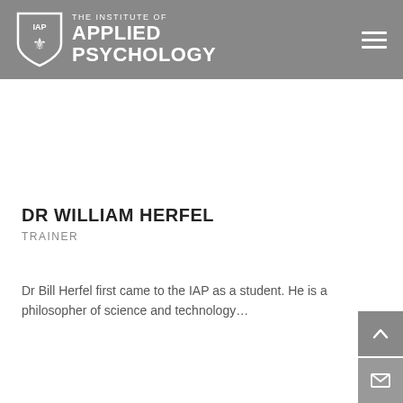THE INSTITUTE OF APPLIED PSYCHOLOGY
DR WILLIAM HERFEL
TRAINER
Dr Bill Herfel first came to the IAP as a student. He is a philosopher of science and technology...